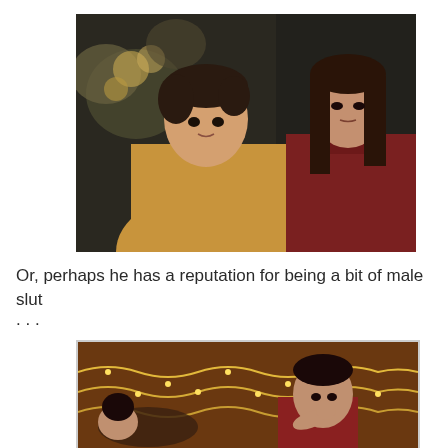[Figure (photo): Two young people sitting together outdoors. A young man in a tan/beige jacket on the left and a young woman in a dark red coat on the right, with holiday decorations visible in the background.]
Or, perhaps he has a reputation for being a bit of male slut
...
[Figure (photo): Two people in a dimly lit room decorated with string lights. A person lying down on the left and a woman sitting and resting her chin on her hand on the right.]